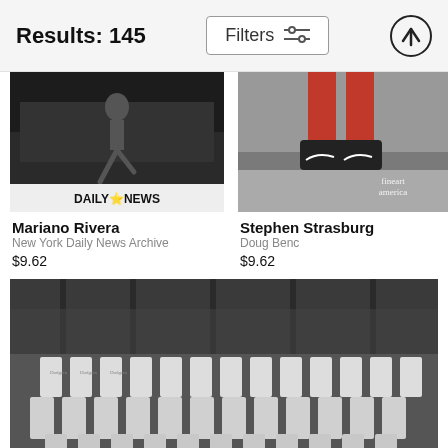Results: 145
[Figure (screenshot): Mariano Rivera Daily News Archive black and white photo showing a baseball player jumping]
[Figure (screenshot): Stephen Strasburg photo showing baseball player's legs with red socks and Nike sneakers, fine art america watermark]
Mariano Rivera
New York Daily News Archive
$9.62
Stephen Strasburg
Doug Benc
$9.62
[Figure (photo): Black and white team photo of the Brooklyn Dodgers baseball team posed in rows at a stadium]